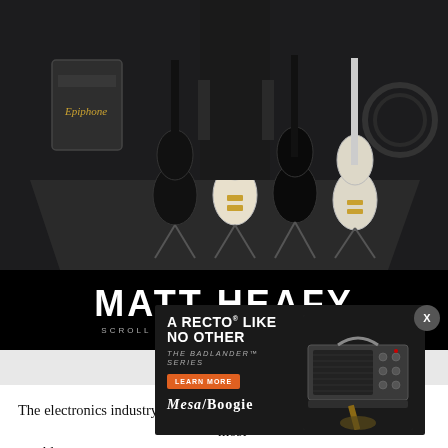[Figure (photo): Tattooed musician standing with four electric guitars (Epiphone Les Paul style) on stands against dark backdrop with flight cases]
MATT HEAFY
SCROLL TO CONTINUE WITH CONTENT
[Figure (infographic): Advertisement: A RECTO LIKE NO OTHER - THE BADLANDER SERIES - LEARN MORE - MESA/BOOGIE, with image of guitar amplifier head]
The electronics industry has not gone unscathed by the shorta... most notabl... typica... tial numbe... y the